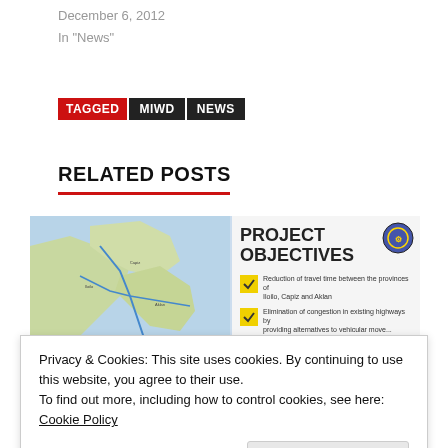December 6, 2012
In "News"
TAGGED MIWD NEWS
RELATED POSTS
[Figure (infographic): Related post thumbnail showing a map on the left and a 'Project Objectives' slide on the right with checkmark items about reduction of travel time and elimination of congestion.]
Privacy & Cookies: This site uses cookies. By continuing to use this website, you agree to their use.
To find out more, including how to control cookies, see here: Cookie Policy